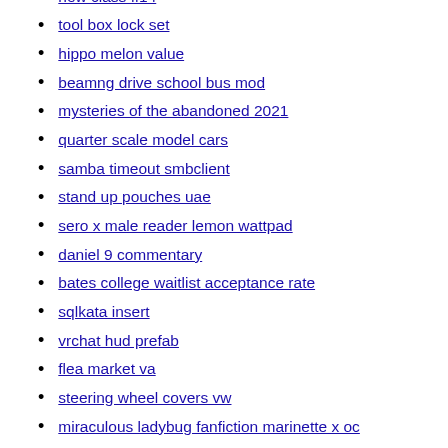new class ff14
tool box lock set
hippo melon value
beamng drive school bus mod
mysteries of the abandoned 2021
quarter scale model cars
samba timeout smbclient
stand up pouches uae
sero x male reader lemon wattpad
daniel 9 commentary
bates college waitlist acceptance rate
sqlkata insert
vrchat hud prefab
flea market va
steering wheel covers vw
miraculous ladybug fanfiction marinette x oc
bellanca service center
outlaw motorcycle clubs by state
whistlindiesel girlfriend instagram
ohio board of directors gmail com
section 8 housing pet policy
brazilian rosewood martin guitar
docker compose multiple containers
rtx 3060 laptop gpu max temperature
sega saturn cbd